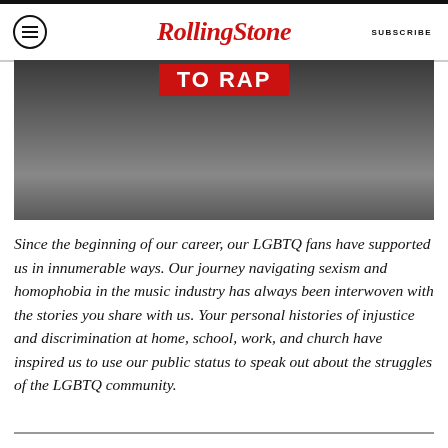RollingStone  SUBSCRIBE
[Figure (photo): Blurred photo of a person holding a red banner reading 'TO RAP']
Since the beginning of our career, our LGBTQ fans have supported us in innumerable ways. Our journey navigating sexism and homophobia in the music industry has always been interwoven with the stories you share with us. Your personal histories of injustice and discrimination at home, school, work, and church have inspired us to use our public status to speak out about the struggles of the LGBTQ community.